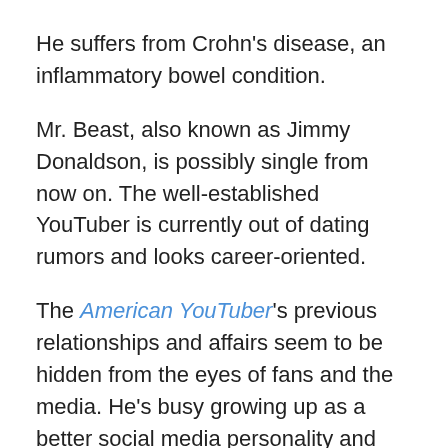He suffers from Crohn's disease, an inflammatory bowel condition.
Mr. Beast, also known as Jimmy Donaldson, is possibly single from now on. The well-established YouTuber is currently out of dating rumors and looks career-oriented.
The American YouTuber's previous relationships and affairs seem to be hidden from the eyes of fans and the media. He's busy growing up as a better social media personality and focused on his future.
YouTuber made headlines when American magazine O Atlantico writer Taylor Lorenz criticized him for posting tweets for using words